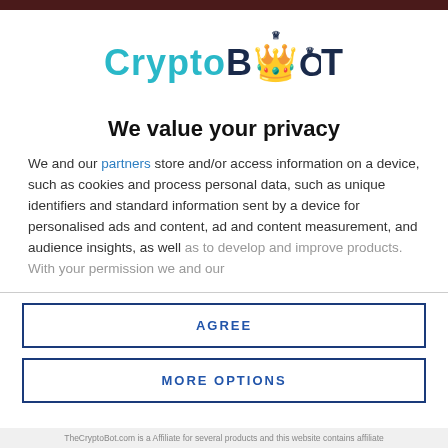[Figure (logo): CryptoBOT logo with 'Crypto' in teal/cyan and 'BOT' in dark navy with a crown icon above the 'O']
We value your privacy
We and our partners store and/or access information on a device, such as cookies and process personal data, such as unique identifiers and standard information sent by a device for personalised ads and content, ad and content measurement, and audience insights, as well as to develop and improve products. With your permission we and our
AGREE
MORE OPTIONS
TheCryptoBot.com is a Affiliate for several products and this website contains affiliate